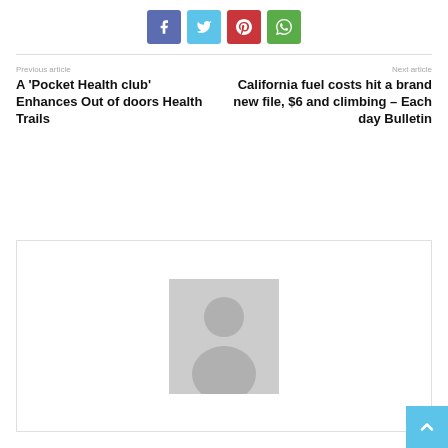[Figure (other): Social share buttons row: Facebook (blue-purple), Twitter (light blue), Pinterest (red), WhatsApp (green)]
Previous article
A ‘Pocket Health club’ Enhances Out of doors Health Trails
Next article
California fuel costs hit a brand new file, $6 and climbing – Each day Bulletin
[Figure (photo): Author placeholder avatar: grey silhouette of a person on light grey background]
[Figure (other): Scroll-to-top button: light blue square with white upward arrow]